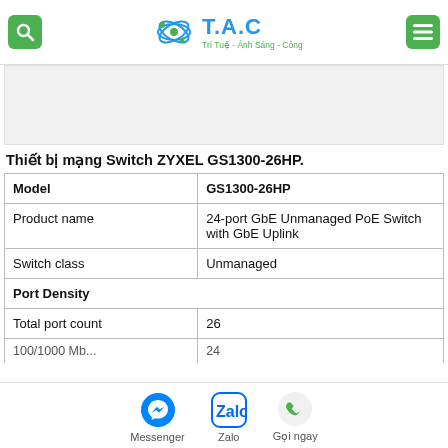T.A.C - Trí Tuệ - Ánh Sáng - Công Nghệ
[Figure (photo): Product image area (placeholder/blank)]
Thiết bị mạng Switch ZYXEL GS1300-26HP.
|  |  |
| --- | --- |
| Model | GS1300-26HP |
| Product name | 24-port GbE Unmanaged PoE Switch with GbE Uplink |
| Switch class | Unmanaged |
| Port Density |  |
| Total port count | 26 |
| 100/1000 Mb... | 24 |
Messenger | Zalo | Gọi ngay